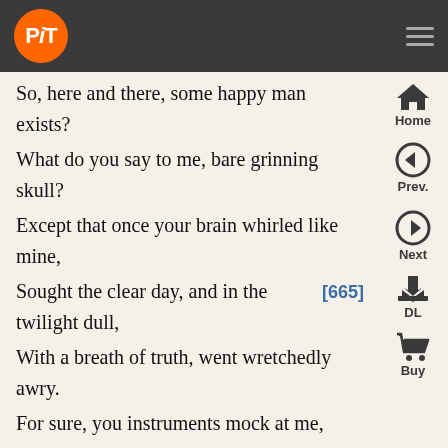PiT logo and navigation bar
So, here and there, some happy man exists?
What do you say to me, bare grinning skull?
Except that once your brain whirled like mine,
Sought the clear day, and in the twilight dull, [665]
With a breath of truth, went wretchedly awry.
For sure, you instruments mock at me,
With cylinders and arms, wheels and cogs:
I stand at the door: and you should be the key:
You're deftly cut, but you undo no locks. [670]
Mysterious, even in broad daylight,
Nature won't let her veil be raised: